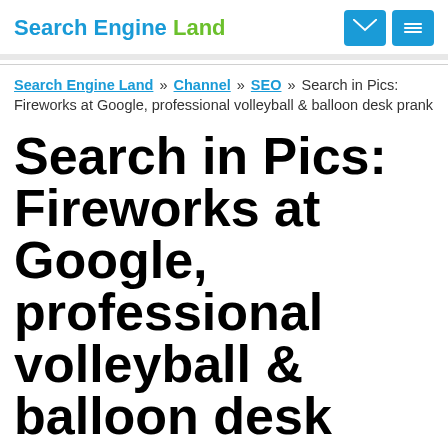Search Engine Land
Search Engine Land » Channel » SEO » Search in Pics: Fireworks at Google, professional volleyball & balloon desk prank
Search in Pics: Fireworks at Google, professional volleyball & balloon desk prank
In this week's Search In Pictures, here are